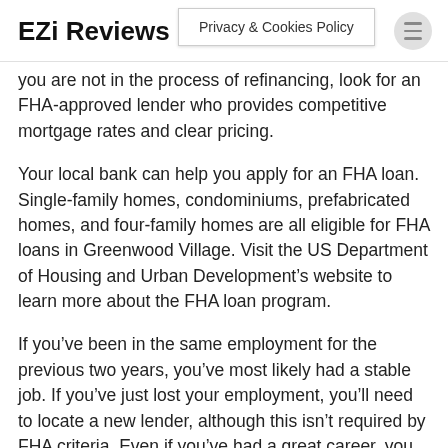EZi Reviews | Privacy & Cookies Policy
you are not in the process of refinancing, look for an FHA-approved lender who provides competitive mortgage rates and clear pricing.
Your local bank can help you apply for an FHA loan. Single-family homes, condominiums, prefabricated homes, and four-family homes are all eligible for FHA loans in Greenwood Village. Visit the US Department of Housing and Urban Development’s website to learn more about the FHA loan program.
If you’ve been in the same employment for the previous two years, you’ve most likely had a stable job. If you’ve just lost your employment, you’ll need to locate a new lender, although this isn’t required by FHA criteria. Even if you’ve had a great career, you may be able to get a loan. However, it is preferable if